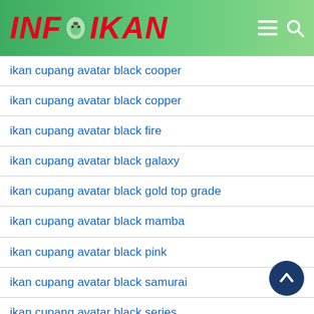INFOIKAN
ikan cupang avatar black cooper
ikan cupang avatar black copper
ikan cupang avatar black fire
ikan cupang avatar black galaxy
ikan cupang avatar black gold top grade
ikan cupang avatar black mamba
ikan cupang avatar black pink
ikan cupang avatar black samurai
ikan cupang avatar black series
ikan cupang avatar black vampir
ikan cupang avatar blue black
ikan cupang avatar blue black light